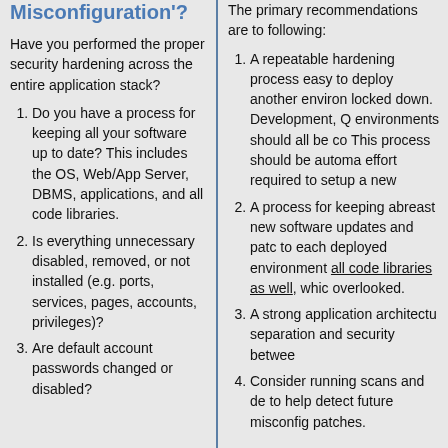Misconfiguration'?
Have you performed the proper security hardening across the entire application stack?
Do you have a process for keeping all your software up to date? This includes the OS, Web/App Server, DBMS, applications, and all code libraries.
Is everything unnecessary disabled, removed, or not installed (e.g. ports, services, pages, accounts, privileges)?
Are default account passwords changed or disabled?
The primary recommendations are to following:
A repeatable hardening process easy to deploy another environment locked down. Development, Q environments should all be co This process should be automa effort required to setup a new
A process for keeping abreast new software updates and pat to each deployed environment all code libraries as well, whi overlooked.
A strong application architect separation and security betwe
Consider running scans and d to help detect future misconfiguration patches.